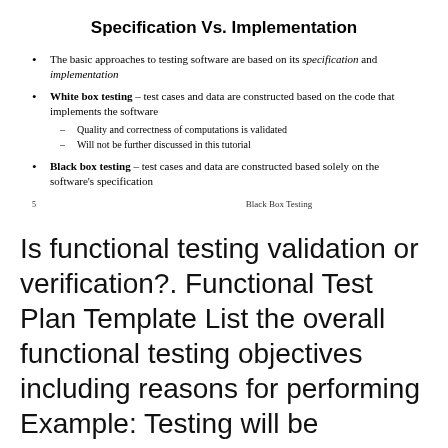Specification Vs. Implementation
The basic approaches to testing software are based on its specification and implementation
White box testing – test cases and data are constructed based on the code that implements the software
– Quality and correctness of computations is validated
– Will not be further discussed in this tutorial
Black box testing – test cases and data are constructed based solely on the software's specification
5    Black Box Testing
Is functional testing validation or verification?. Functional Test Plan Template List the overall functional testing objectives including reasons for performing Example: Testing will be executed with the Functional Test Plan Template List the overall functional